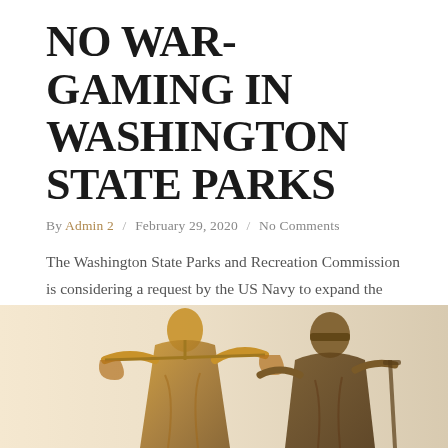NO WAR-GAMING IN WASHINGTON STATE PARKS
By Admin 2 / February 29, 2020 / No Comments
The Washington State Parks and Recreation Commission is considering a request by the US Navy to expand the scope and geography of SEAL training to include 29 State parks all around the Puget Sound and the Olympic Coast. We need a HUGE public outcry so…
Read More
[Figure (photo): Photo of Lady Justice bronze statue, showing figure holding scales, with golden and bronze tones on a light background.]